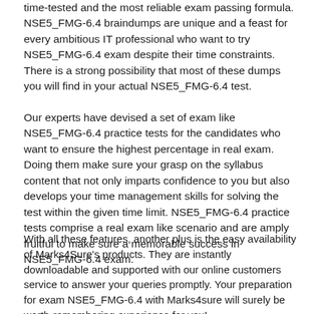time-tested and the most reliable exam passing formula. NSE5_FMG-6.4 braindumps are unique and a feast for every ambitious IT professional who want to try NSE5_FMG-6.4 exam despite their time constraints. There is a strong possibility that most of these dumps you will find in your actual NSE5_FMG-6.4 test.
Our experts have devised a set of exam like NSE5_FMG-6.4 practice tests for the candidates who want to ensure the highest percentage in real exam. Doing them make sure your grasp on the syllabus content that not only imparts confidence to you but also develops your time management skills for solving the test within the given time limit. NSE5_FMG-6.4 practice tests comprise a real exam like scenario and are amply fruitful to make sure a memorable success in NSE5_FMG-6.4 exam.
With all these features, another plus is the easy availability of Marks4Sure's products. They are instantly downloadable and supported with our online customers service to answer your queries promptly. Your preparation for exam NSE5_FMG-6.4 with Marks4sure will surely be worth-remembering experience for you!
Pass Fortinet Certification Exam Fortinet NSE 5 -